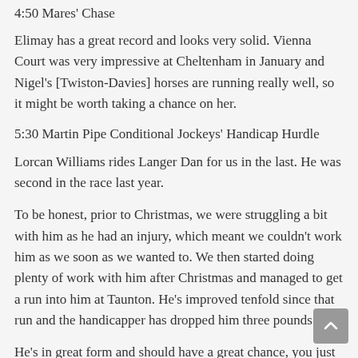4:50 Mares' Chase
Elimay has a great record and looks very solid. Vienna Court was very impressive at Cheltenham in January and Nigel's [Twiston-Davies] horses are running really well, so it might be worth taking a chance on her.
5:30 Martin Pipe Conditional Jockeys' Handicap Hurdle
Lorcan Williams rides Langer Dan for us in the last. He was second in the race last year.
To be honest, prior to Christmas, we were struggling a bit with him as he had an injury, which meant we couldn't work him as we soon as we wanted to. We then started doing plenty of work with him after Christmas and managed to get a run into him at Taunton. He's improved tenfold since that run and the handicapper has dropped him three pounds.
He's in great form and should have a great chance, you just need a lot of luck in a race like this. Hopefully there isn't a Galopin Des Champs in there this year!